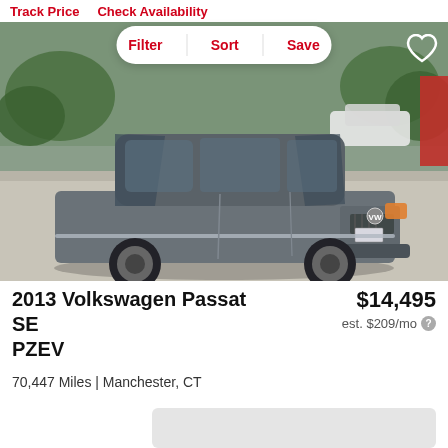Track Price   Check Availability
[Figure (screenshot): Filter / Sort / Save pill bar overlay on car listing page]
[Figure (photo): 2013 Volkswagen Passat SE PZEV in gray, parked in a lot, front 3/4 view]
2013 Volkswagen Passat SE PZEV
$14,495
est. $209/mo
70,447 Miles | Manchester, CT